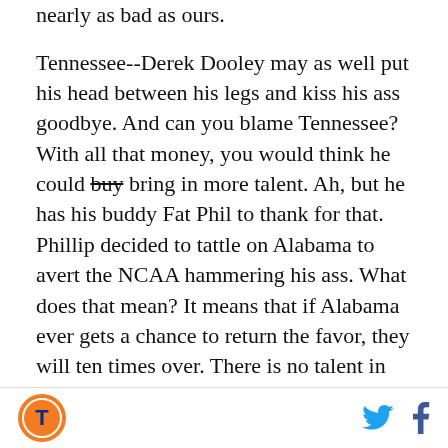nearly as bad as ours.
Tennessee--Derek Dooley may as well put his head between his legs and kiss his ass goodbye. And can you blame Tennessee? With all that money, you would think he could buy bring in more talent. Ah, but he has his buddy Fat Phil to thank for that. Phillip decided to tattle on Alabama to avert the NCAA hammering his ass. What does that mean? It means that if Alabama ever gets a chance to return the favor, they will ten times over. There is no talent in Tennessee and UT can't cheat anymore. Once Phil screwed Bama, the response was (in my best Tony Montana voice) "You just fucked yourself." Tennessee fan is going apeshit now because (A) they have asstons of money
logo and social icons